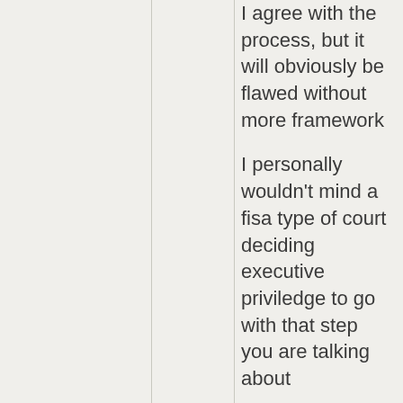I agree with the process, but it will obviously be flawed without more framework
I personally wouldn't mind a fisa type of court deciding executive priviledge to go with that step you are talking about